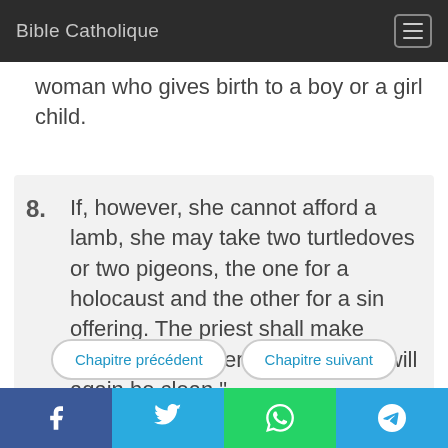Bible Catholique
woman who gives birth to a boy or a girl child.
8. If, however, she cannot afford a lamb, she may take two turtledoves or two pigeons, the one for a holocaust and the other for a sin offering. The priest shall make atonement for her, and thus she will again be clean."
Chapitre précédent
Chapitre suivant
Social share bar: Facebook, Twitter, WhatsApp, Telegram